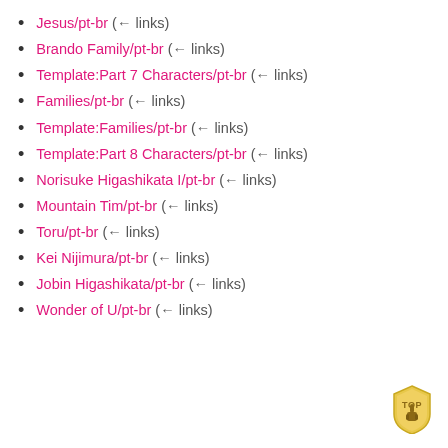Jesus/pt-br  (← links)
Brando Family/pt-br  (← links)
Template:Part 7 Characters/pt-br  (← links)
Families/pt-br  (← links)
Template:Families/pt-br  (← links)
Template:Part 8 Characters/pt-br  (← links)
Norisuke Higashikata I/pt-br  (← links)
Mountain Tim/pt-br  (← links)
Toru/pt-br  (← links)
Kei Nijimura/pt-br  (← links)
Jobin Higashikata/pt-br  (← links)
Wonder of U/pt-br  (← links)
[Figure (illustration): Golden 'TOP' badge icon with a hand/cursor pointing upward, positioned at bottom-right corner]